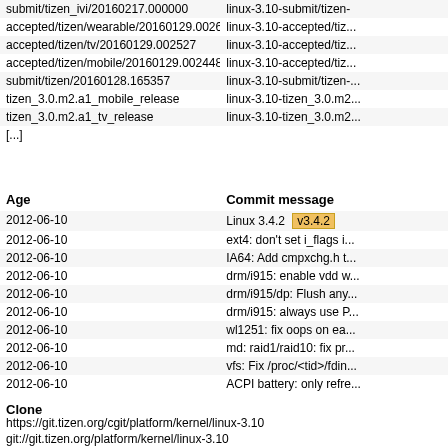submit/tizen_ivi/20160217.000000 | linux-3.10-submit/tizen-...
accepted/tizen/wearable/20160129.002649 | linux-3.10-accepted/tiz...
accepted/tizen/tv/20160129.002527 | linux-3.10-accepted/tiz...
accepted/tizen/mobile/20160129.002448 | linux-3.10-accepted/tiz...
submit/tizen/20160128.165357 | linux-3.10-submit/tizen-...
tizen_3.0.m2.a1_mobile_release | linux-3.10-tizen_3.0.m2...
tizen_3.0.m2.a1_tv_release | linux-3.10-tizen_3.0.m2...
[...]
| Age | Commit message |
| --- | --- |
| 2012-06-10 | Linux 3.4.2 v3.4.2 |
| 2012-06-10 | ext4: don't set i_flags i... |
| 2012-06-10 | IA64: Add cmpxchg.h t... |
| 2012-06-10 | drm/i915: enable vdd w... |
| 2012-06-10 | drm/i915/dp: Flush any... |
| 2012-06-10 | drm/i915: always use P... |
| 2012-06-10 | wl1251: fix oops on ea... |
| 2012-06-10 | md: raid1/raid10: fix pr... |
| 2012-06-10 | vfs: Fix /proc/<tid>/fdin... |
| 2012-06-10 | ACPI battery: only refre... |
[...]
Clone
https://git.tizen.org/cgit/platform/kernel/linux-3.10
git://git.tizen.org/platform/kernel/linux-3.10